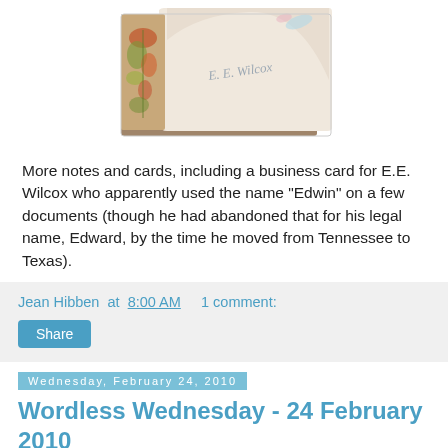[Figure (photo): A vintage business card or greeting card with floral decorations and cursive writing, partially inside a brown envelope, on a white background.]
More notes and cards, including a business card for E.E. Wilcox who apparently used the name "Edwin" on a few documents (though he had abandoned that for his legal name, Edward, by the time he moved from Tennessee to Texas).
Jean Hibben at 8:00 AM   1 comment:
Share
Wednesday, February 24, 2010
Wordless Wednesday - 24 February 2010